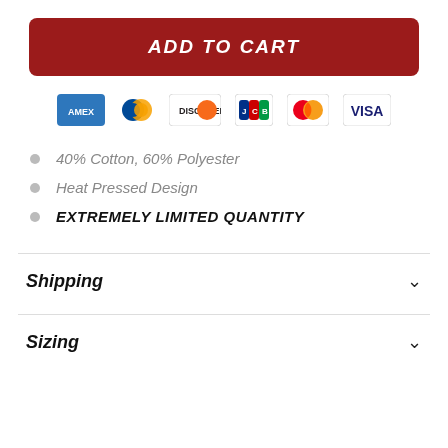ADD TO CART
[Figure (logo): Payment icons: American Express, Diners Club, Discover, JCB, Mastercard, Visa]
40% Cotton, 60% Polyester
Heat Pressed Design
EXTREMELY LIMITED QUANTITY
Shipping
Sizing